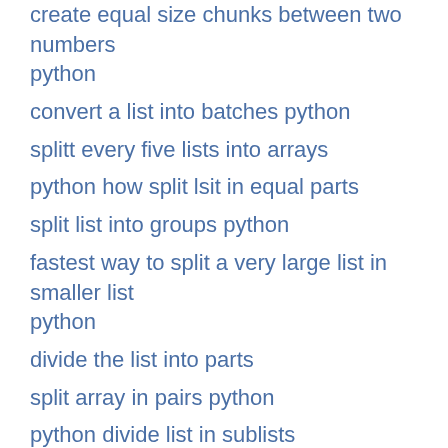create equal size chunks between two numbers python
convert a list into batches python
splitt every five lists into arrays
python how split lsit in equal parts
split list into groups python
fastest way to split a very large list in smaller list python
divide the list into parts
split array in pairs python
python divide list in sublists
how to divide a list into sublists java
python split number into chunks under 100
Split a Python List into Chunks